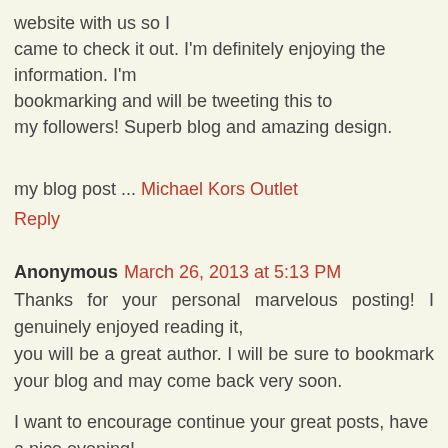website with us so I came to check it out. I'm definitely enjoying the information. I'm bookmarking and will be tweeting this to my followers! Superb blog and amazing design.
my blog post ... Michael Kors Outlet
Reply
Anonymous March 26, 2013 at 5:13 PM
Thanks for your personal marvelous posting! I genuinely enjoyed reading it, you will be a great author. I will be sure to bookmark your blog and may come back very soon.
I want to encourage continue your great posts, have a nice evening!
Feel free to visit my web blog: michael kors